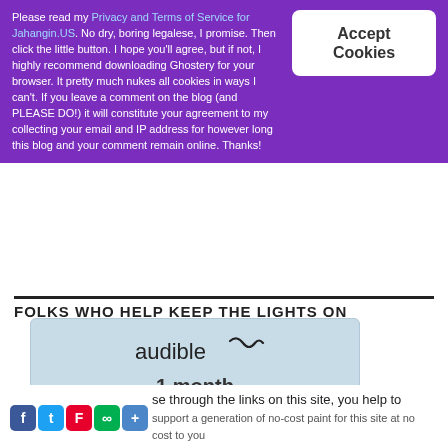Please read my Privacy and Terms of Service for Jahangin.US. No dry, boring legalese, I promise. Then click the little button. I hope you'll agree, but if not, I highly recommend downloading Ghostery for your browser. It pretty much nukes all cookies in ways I can't. If you leave a comment on the blog (and PLEASE DO!) it will constitute your agreement to my collecting your email and IP address for however long this blog and your comment remain online. Thanks!
FOLKS WHO HELP KEEP THE LIGHTS ON
[Figure (advertisement): Audible advertisement: 1 month strikethrough, 3 months FREE, Get this deal, showing book covers: Open Water, The Summer I Turned Pretty, Greta Thunberg]
When you purchase through the links on this site, you help to support a generation of no-cost paint for this site at no cost to you.